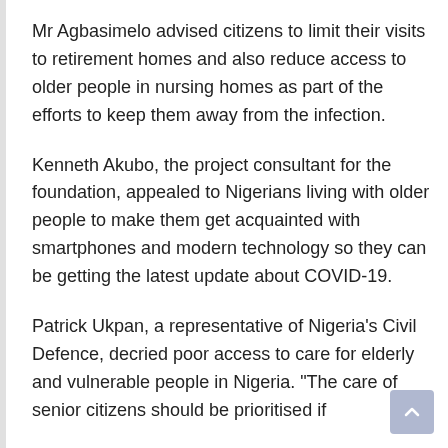Mr Agbasimelo advised citizens to limit their visits to retirement homes and also reduce access to older people in nursing homes as part of the efforts to keep them away from the infection.
Kenneth Akubo, the project consultant for the foundation, appealed to Nigerians living with older people to make them get acquainted with smartphones and modern technology so they can be getting the latest update about COVID-19.
Patrick Ukpan, a representative of Nigeria’s Civil Defence, decried poor access to care for elderly and vulnerable people in Nigeria. “The care of senior citizens should be prioritised if